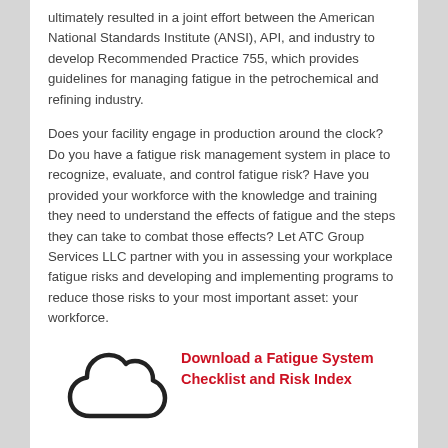ultimately resulted in a joint effort between the American National Standards Institute (ANSI), API, and industry to develop Recommended Practice 755, which provides guidelines for managing fatigue in the petrochemical and refining industry.
Does your facility engage in production around the clock? Do you have a fatigue risk management system in place to recognize, evaluate, and control fatigue risk? Have you provided your workforce with the knowledge and training they need to understand the effects of fatigue and the steps they can take to combat those effects? Let ATC Group Services LLC partner with you in assessing your workplace fatigue risks and developing and implementing programs to reduce those risks to your most important asset: your workforce.
[Figure (illustration): Cloud icon outline in black]
Download a Fatigue System Checklist and Risk Index